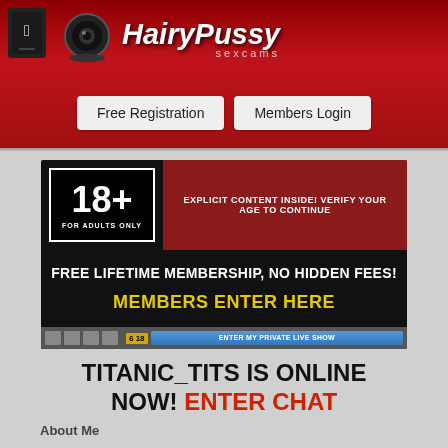[Figure (screenshot): Website header with red gradient background, webcam logo icon, HairyPussy sexcams brand name in white italic bold text]
Free Registration
Members Login
[Figure (screenshot): 18+ age verification banner with black background, 18+ FOR ADULTS ONLY badge, red stripe with text EXPLICIT CONTENT INSIDE! VERIFY YOUR AGE TO CONTINUE, FREE LIFETIME MEMBERSHIP, NO HIDDEN FEES!, MEMBERS ENTER HERE in yellow, and a video player bar with ENTER MY PRIVATE LIVE SHOW button]
TITANIC_TITS IS ONLINE NOW! ENTER CHAT
About Me